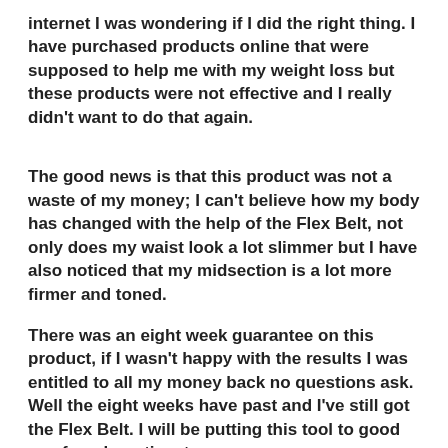internet I was wondering if I did the right thing. I have purchased products online that were supposed to help me with my weight loss but these products were not effective and I really didn't want to do that again.
The good news is that this product was not a waste of my money; I can't believe how my body has changed with the help of the Flex Belt, not only does my waist look a lot slimmer but I have also noticed that my midsection is a lot more firmer and toned.
There was an eight week guarantee on this product, if I wasn't happy with the results I was entitled to all my money back no questions ask. Well the eight weeks have past and I've still got the Flex Belt. I will be putting this tool to good use for a long time to come.